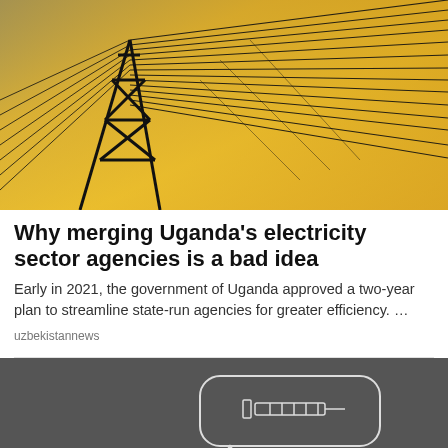[Figure (photo): Electric power lines and transmission tower silhouetted against a golden/yellow sunset sky]
Why merging Uganda's electricity sector agencies is a bad idea
Early in 2021, the government of Uganda approved a two-year plan to streamline state-run agencies for greater efficiency. …
uzbekistannews
[Figure (photo): Person looking up at a thought bubble drawn on a chalkboard containing a syringe illustration]